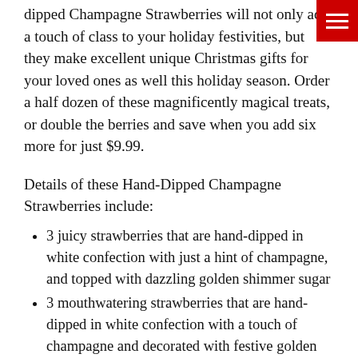dipped Champagne Strawberries will not only add a touch of class to your holiday festivities, but they make excellent unique Christmas gifts for your loved ones as well this holiday season. Order a half dozen of these magnificently magical treats, or double the berries and save when you add six more for just $9.99.
Details of these Hand-Dipped Champagne Strawberries include:
3 juicy strawberries that are hand-dipped in white confection with just a hint of champagne, and topped with dazzling golden shimmer sugar
3 mouthwatering strawberries that are hand-dipped in white confection with a touch of champagne and decorated with festive golden Christmas swizzles
Contains no alcohol
Double your order and save when you add 6 decadent strawberries for just $9.99 more
Priced affordably starting at just $34.99